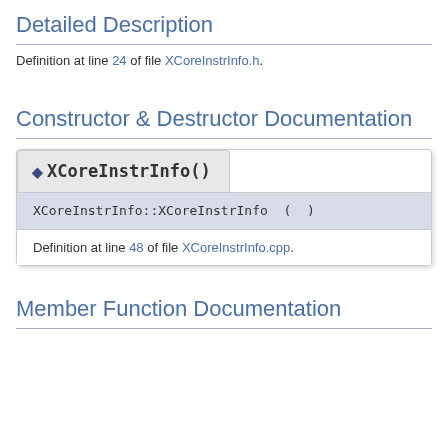Detailed Description
Definition at line 24 of file XCoreInstrInfo.h.
Constructor & Destructor Documentation
◆ XCoreInstrInfo()
XCoreInstrInfo::XCoreInstrInfo ( )
Definition at line 48 of file XCoreInstrInfo.cpp.
Member Function Documentation